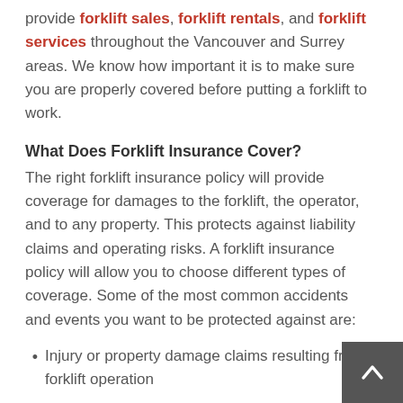provide forklift sales, forklift rentals, and forklift services throughout the Vancouver and Surrey areas. We know how important it is to make sure you are properly covered before putting a forklift to work.
What Does Forklift Insurance Cover?
The right forklift insurance policy will provide coverage for damages to the forklift, the operator, and to any property. This protects against liability claims and operating risks. A forklift insurance policy will allow you to choose different types of coverage. Some of the most common accidents and events you want to be protected against are:
Injury or property damage claims resulting from forklift operation
Physical damage or vandalism to the forklift itself
Theft of the forklift or of its components and parts
Damage or theft that may occur while the forklift is in transit